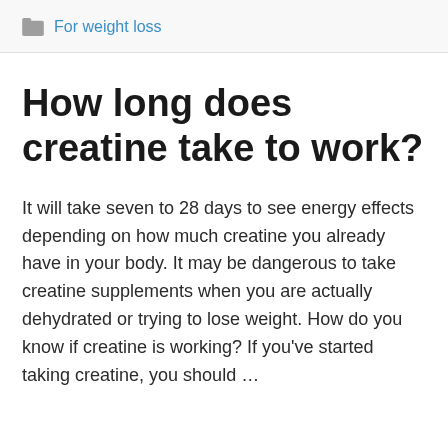For weight loss
How long does creatine take to work?
It will take seven to 28 days to see energy effects depending on how much creatine you already have in your body. It may be dangerous to take creatine supplements when you are actually dehydrated or trying to lose weight. How do you know if creatine is working? If you’ve started taking creatine, you should …